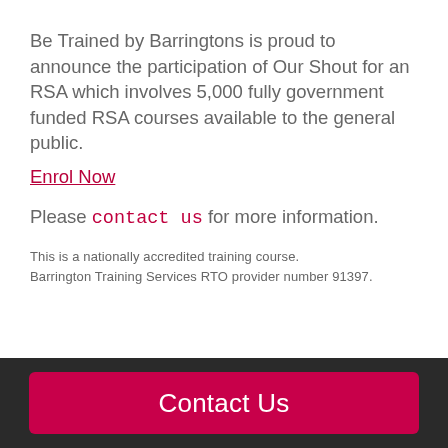Be Trained by Barringtons is proud to announce the participation of Our Shout for an RSA which involves 5,000 fully government funded RSA courses available to the general public.
Enrol Now
Please contact us for more information.
This is a nationally accredited training course.
Barrington Training Services RTO provider number 91397.
Contact Us